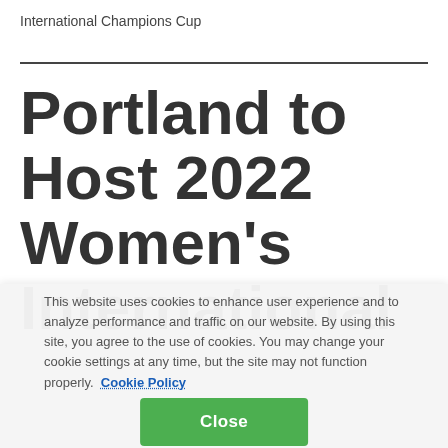International Champions Cup
Portland to Host 2022 Women’s International
This website uses cookies to enhance user experience and to analyze performance and traffic on our website. By using this site, you agree to the use of cookies. You may change your cookie settings at any time, but the site may not function properly.  Cookie Policy
Close